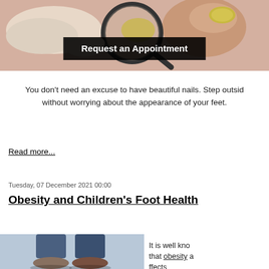[Figure (photo): Medical photo showing a healthcare professional examining a toenail with a magnifying glass, with a 'Request an Appointment' banner overlay]
You don't need an excuse to have beautiful nails. Step outside without worrying about the appearance of your feet.
Read more...
Tuesday, 07 December 2021 00:00
Obesity and Children's Foot Health
[Figure (photo): Photo of child's feet/legs from below, showing jeans]
It is well known that obesity affects...